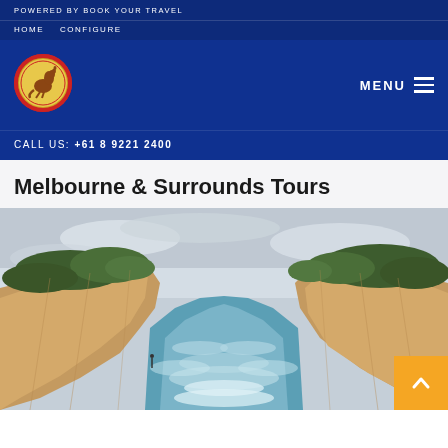POWERED BY BOOK YOUR TRAVEL
HOME   CONFIGURE
[Figure (logo): Aussie Perth Tours circular logo with kangaroo and Melbourne Tours text]
MENU
CALL US: +61 8 9221 2400
Melbourne & Surrounds Tours
[Figure (photo): Coastal limestone rock formations with turquoise waves crashing between cliffs topped with green vegetation, overcast sky - likely Loch Ard Gorge or similar Great Ocean Road landmark]